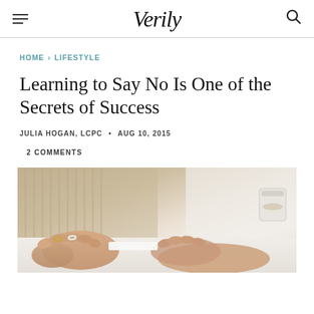Verily
HOME › LIFESTYLE
Learning to Say No Is One of the Secrets of Success
JULIA HOGAN, LCPC • AUG 10, 2015
2 COMMENTS
[Figure (photo): Close-up photo of a person's hands with rings on fingers, resting on a white surface, with a blurred background showing a chair and a cup.]